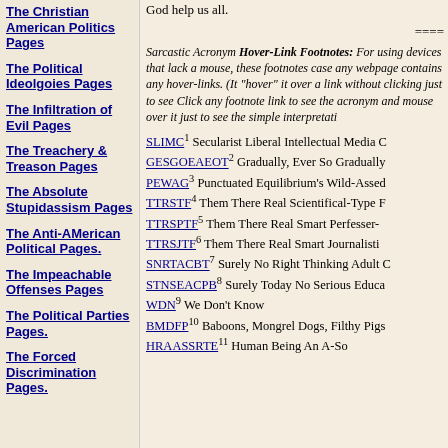The Christian American Politics Pages
The Political Ideolgoies Pages
The Infiltration of Evil Pages
The Treachery & Treason Pages
The Absolute Stupidassism Pages
The Anti-AMerican Political Pages.
The Impeachable Offenses Pages
The Political Parties Pages.
The Forced Discrimination Pages.
God help us all.
=====
Sarcastic Acronym Hover-Link Footnotes: For using devices that lack a mouse, these footnotes appear in case any webpage contains any hover-links. (If you can "hover" it over a link without clicking just to see... Click any footnote link to see the acronym and mouse over it just to see the simple interpretati...
SLIMC1 Secularist Liberal Intellectual Media C...
GESGOEAEOT2 Gradually, Ever So Gradually...
PEWAG3 Punctuated Equilibrium's Wild-Assed...
TTRSTF4 Them There Real Scientifical-Type F...
TTRSPTF5 Them There Real Smart Perfesser-...
TTRSJTF6 Them There Real Smart Journalisti...
SNRTACBT7 Surely No Right Thinking Adult C...
STNSEACPB8 Surely Today No Serious Educa...
WDN9 We Don't Know
BMDFP10 Baboons, Mongrel Dogs, Filthy Pigs...
HRAASSTF11 Human Being An A-So...